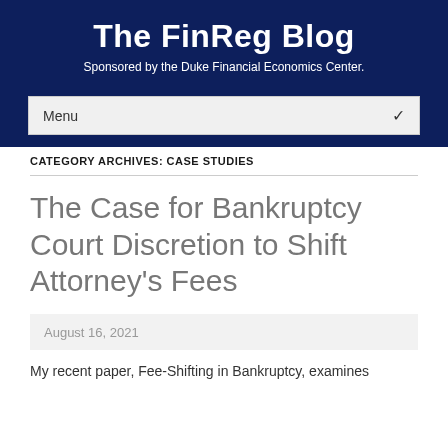The FinReg Blog
Sponsored by the Duke Financial Economics Center.
Menu
CATEGORY ARCHIVES: CASE STUDIES
The Case for Bankruptcy Court Discretion to Shift Attorney’s Fees
August 16, 2021
My recent paper, Fee-Shifting in Bankruptcy, examines